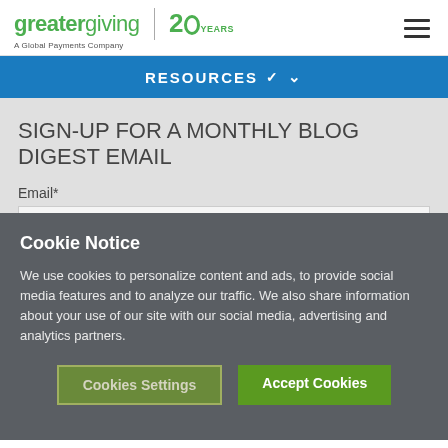greatergiving | 20 YEARS — A Global Payments Company
RESOURCES ▾
SIGN-UP FOR A MONTHLY BLOG DIGEST EMAIL
Email*
Cookie Notice
We use cookies to personalize content and ads, to provide social media features and to analyze our traffic. We also share information about your use of our site with our social media, advertising and analytics partners.
Cookies Settings | Accept Cookies